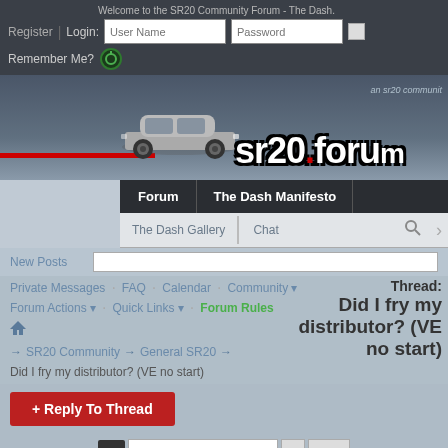Welcome to the SR20 Community Forum - The Dash.
Register | Login: User Name  Password
Remember Me?
[Figure (screenshot): SR20 Forum banner with car image and sr20.forum logo text]
Forum | The Dash Manifesto
The Dash Gallery | Chat
New Posts
Private Messages  FAQ  Calendar  Community
Forum Actions  Quick Links  Forum Rules
Thread: Did I fry my distributor? (VE no start)
→  SR20 Community  →  General SR20  →
Did I fry my distributor? (VE no start)
+ Reply To Thread
1  2  Last
Search Thread